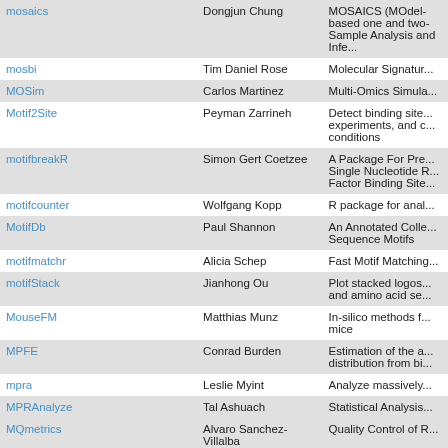| Package | Maintainer | Description |
| --- | --- | --- |
| mosaics | Dongjun Chung | MOSAICS (MOdel-based one and two-Sample Analysis and Infe... |
| mosbi | Tim Daniel Rose | Molecular Signatur... |
| MOSim | Carlos Martinez | Multi-Omics Simula... |
| Motif2Site | Peyman Zarrineh | Detect binding site... experiments, and c... conditions |
| motifbreakR | Simon Gert Coetzee | A Package For Pre... Single Nucleotide R... Factor Binding Site... |
| motifcounter | Wolfgang Kopp | R package for anal... |
| MotifDb | Paul Shannon | An Annotated Colle... Sequence Motifs |
| motifmatchr | Alicia Schep | Fast Motif Matching... |
| motifStack | Jianhong Ou | Plot stacked logos... and amino acid se... |
| MouseFM | Matthias Munz | In-silico methods f... mice |
| MPFE | Conrad Burden | Estimation of the a... distribution from bi... |
| mpra | Leslie Myint | Analyze massively... |
| MPRAnalyze | Tal Ashuach | Statistical Analysis... |
| MQmetrics | Alvaro Sanchez-Villalba | Quality Control of R... |
| msa | Ulrich Bodenhofer | Multiple Sequence... |
| MSA2dist | Kristian K Ullrich | MSA2dist calculate... sequences of a DN... using a custom sco... |